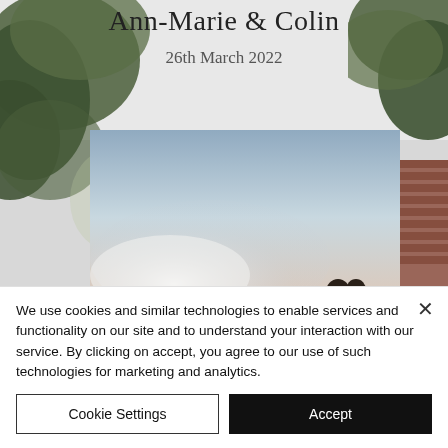Ann-Marie & Colin
26th March 2022
[Figure (photo): Wedding website screenshot showing couple outdoors with trees/foliage in background, brick wall visible on right side]
We use cookies and similar technologies to enable services and functionality on our site and to understand your interaction with our service. By clicking on accept, you agree to our use of such technologies for marketing and analytics.
Cookie Settings
Accept